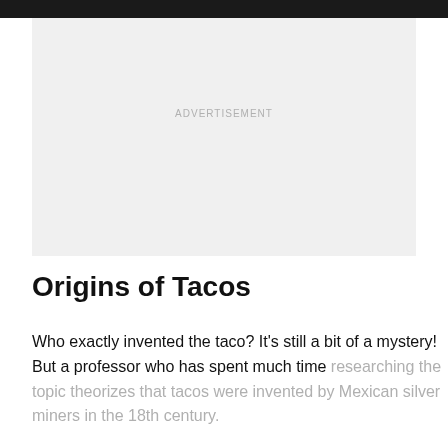[Figure (photo): Dark/black image strip at the top of the page]
[Figure (other): Advertisement placeholder box with gray background and ADVERTISEMENT label]
Origins of Tacos
Who exactly invented the taco? It's still a bit of a mystery! But a professor who has spent much time researching the topic theorizes that tacos were invented by Mexican silver miners in the 18th century.